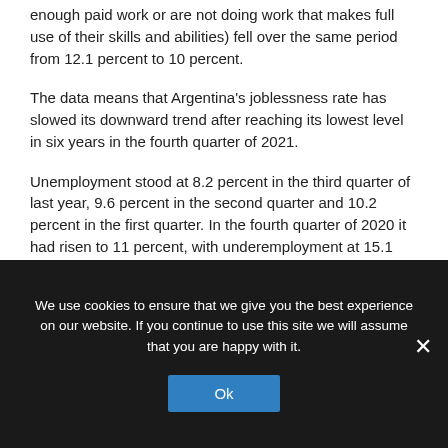enough paid work or are not doing work that makes full use of their skills and abilities) fell over the same period from 12.1 percent to 10 percent.
The data means that Argentina's joblessness rate has slowed its downward trend after reaching its lowest level in six years in the fourth quarter of 2021.
Unemployment stood at 8.2 percent in the third quarter of last year, 9.6 percent in the second quarter and 10.2 percent in the first quarter. In the fourth quarter of 2020 it had risen to 11 percent, with underemployment at 15.1 percent.
We use cookies to ensure that we give you the best experience on our website. If you continue to use this site we will assume that you are happy with it.